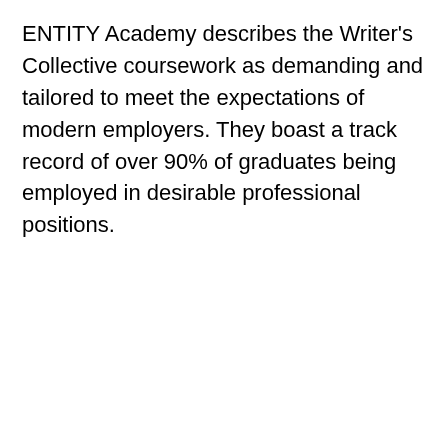ENTITY Academy describes the Writer's Collective coursework as demanding and tailored to meet the expectations of modern employers. They boast a track record of over 90% of graduates being employed in desirable professional positions.